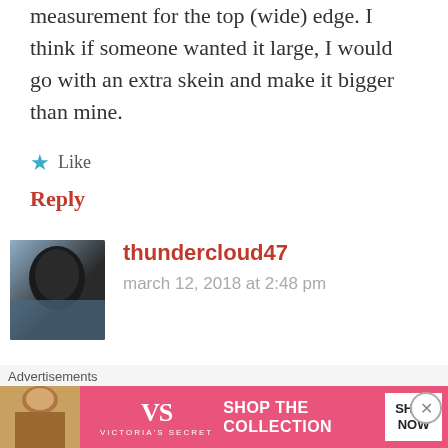measurement for the top (wide) edge. I think if someone wanted it large, I would go with an extra skein and make it bigger than mine.
Like
Reply
thundercloud47
march 12, 2018 at 2:48 pm
Sue, I surely do appreciate your response. I've never crocheted a shawl before, but the lady is going to have neck surgery later this
Advertisements
[Figure (infographic): Victoria's Secret advertisement banner with model, VS logo, 'SHOP THE COLLECTION' text, and 'SHOP NOW' button]